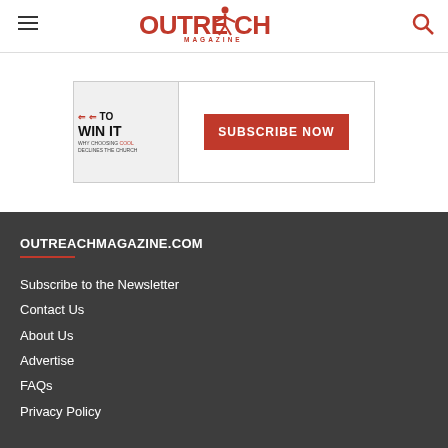Outreach Magazine
[Figure (illustration): Advertisement banner showing a book cover with arrows and 'WIN IT' text alongside a red Subscribe Now button]
OUTREACHMAGAZINE.COM
Subscribe to the Newsletter
Contact Us
About Us
Advertise
FAQs
Privacy Policy